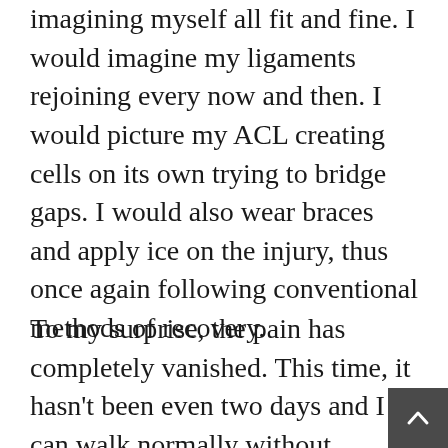imagining myself all fit and fine. I would imagine my ligaments rejoining every now and then. I would picture my ACL creating cells on its own trying to bridge gaps. I would also wear braces and apply ice on the injury, thus once again following conventional methods of recovery.
To my surprise, the pain has completely vanished. This time, it hasn't been even two days and I can walk normally without limping. I don't feel the pain anymore. The injury isn't completely cured however I am quite sure, with positive thinking and self healing, I would be running on the field once again (I doubt that. With the gravity of the situation, I fear my parents would